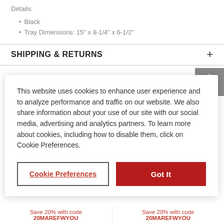Details:
Black
Tray Dimensions: 15" x 8-1/4" x 6-1/2"
SHIPPING & RETURNS
You May Also Like
This website uses cookies to enhance user experience and to analyze performance and traffic on our website. We also share information about your use of our site with our social media, advertising and analytics partners. To learn more about cookies, including how to disable them, click on Cookie Preferences.
Cookie Preferences
Got It
Save 20% with code 20MAREFWYOU
Save 20% with code 20MAREFWYOU